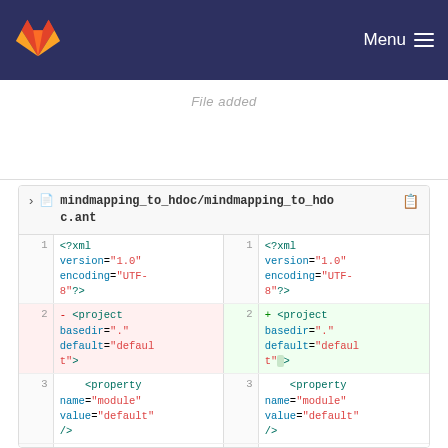GitLab Menu
[Figure (screenshot): Partial file name label at top of diff]
mindmapping_to_hdoc/mindmapping_to_hdoc.ant
| line_l | code_l | line_r | code_r |
| --- | --- | --- | --- |
| 1 | <?xml version="1.0" encoding="UTF-8"?> | 1 | <?xml version="1.0" encoding="UTF-8"?> |
| 2 | - <project basedir="." default="default"> | 2 | + <project basedir="." default="default" > |
| 3 |     <property name="module" value="default" /> | 3 |     <property name="module" value="default" /> |
| 4 |     <!-- | 4 |     <!-- |
| 5 |         only | 5 |         only |
|  | for the debug |  | for the debug |